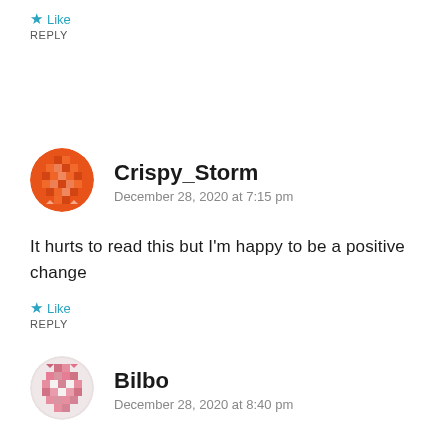★ Like
REPLY
[Figure (illustration): Orange mosaic-pattern circular avatar for user Crispy_Storm]
Crispy_Storm
December 28, 2020 at 7:15 pm
It hurts to read this but I'm happy to be a positive change
★ Like
REPLY
[Figure (illustration): Pink/red mosaic-pattern circular avatar for user Bilbo]
Bilbo
December 28, 2020 at 8:40 pm